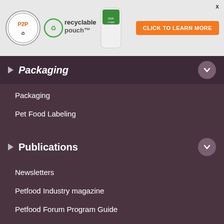[Figure (screenshot): Banner advertisement for recyclable pouch packaging with a logo, product image, and orange 'CLICK TO LEARN MORE' button. An 'x' close button is in the top right.]
Packaging
Packaging
Pet Food Labeling
Publications
Newsletters
Petfood Industry magazine
Petfood Forum Program Guide
Webinars, Events & Resources
Petfood Forum